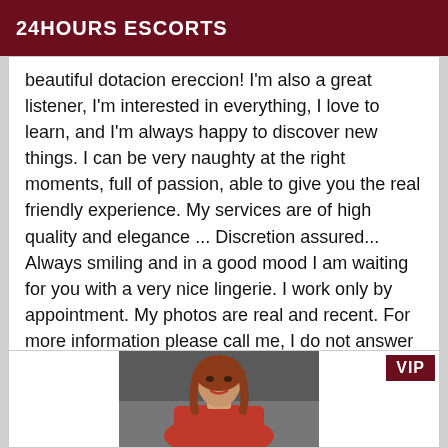24HOURS ESCORTS
beautiful dotacion ereccion! I'm also a great listener, I'm interested in everything, I love to learn, and I'm always happy to discover new things. I can be very naughty at the right moments, full of passion, able to give you the real friendly experience. My services are of high quality and elegance ... Discretion assured... Always smiling and in a good mood I am waiting for you with a very nice lingerie. I work only by appointment. My photos are real and recent. For more information please call me, I do not answer to hidden numbers.
[Figure (photo): Woman with red hair wearing a red lace off-shoulder dress, with a VIP badge in the top-right corner of the card]